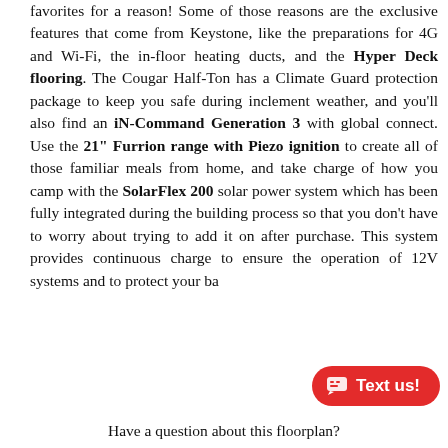favorites for a reason! Some of those reasons are the exclusive features that come from Keystone, like the preparations for 4G and Wi-Fi, the in-floor heating ducts, and the Hyper Deck flooring. The Cougar Half-Ton has a Climate Guard protection package to keep you safe during inclement weather, and you'll also find an iN-Command Generation 3 with global connect. Use the 21" Furrion range with Piezo ignition to create all of those familiar meals from home, and take charge of how you camp with the SolarFlex 200 solar power system which has been fully integrated during the building process so that you don't have to worry about trying to add it on after purchase. This system provides continuous charge to ensure the operation of 12V systems and to protect your ba...
Have a question about this floorplan?